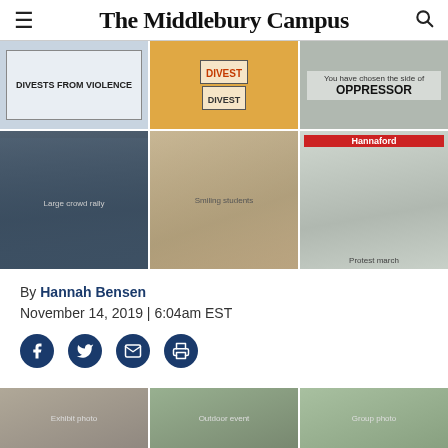The Middlebury Campus
[Figure (photo): Grid of six protest photos: top row shows banners reading 'DIVESTS FROM VIOLENCE', 'DIVEST', and 'You have chosen the side of OPPRESSOR'; bottom row shows large crowd of students, smiling students, and protesters in front of Hannaford store.]
By Hannah Bensen
November 14, 2019 | 6:04am EST
[Figure (infographic): Social share icons: Facebook, Twitter, Email, Print]
[Figure (photo): Bottom row of three additional protest/event photos partially visible.]